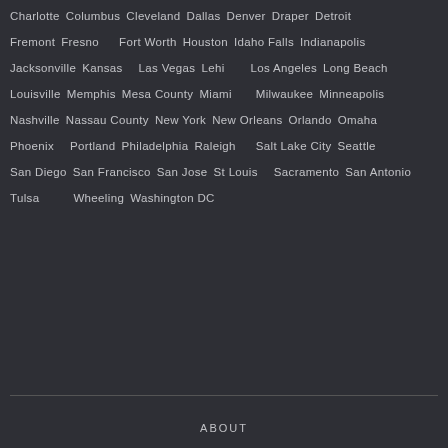Charlotte  Columbus  Cleveland  Dallas  Denver  Draper  Detroit
Fremont  Fresno  Fort Worth  Houston  Idaho Falls  Indianapolis
Jacksonville  Kansas  Las Vegas  Lehi  Los Angeles  Long Beach
Louisville  Memphis  Mesa County  Miami  Milwaukee  Minneapolis
Nashville  Nassau County  New York  New Orleans  Orlando  Omaha
Phoenix  Portland  Philadelphia  Raleigh  Salt Lake City  Seattle
San Diego  San Francisco  San Jose  St Louis  Sacramento  San Antonio
Tulsa  Wheeling  Washington DC
ABOUT